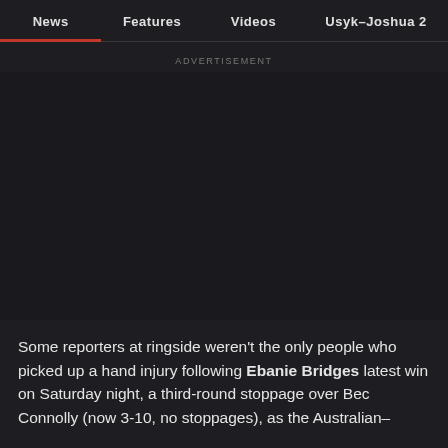News  Features  Videos  Usyk–Joshua 2
ADVERTISEMENT
Some reporters at ringside weren't the only people who picked up a hand injury following Ebanie Bridges latest win on Saturday night, a third-round stoppage over Bec Connolly (now 3-10, no stoppages), as the Australian-